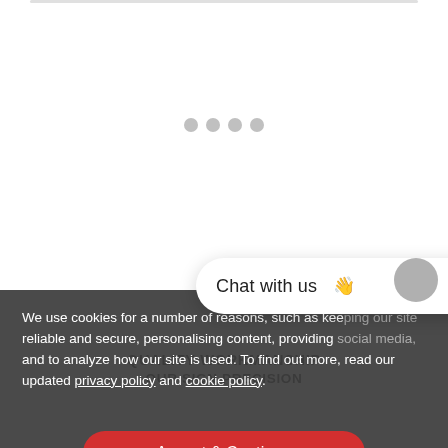[Figure (screenshot): Top border line of a webpage content card]
[Figure (infographic): Carousel navigation dots — four grey circles indicating slide position]
[Figure (screenshot): Chat with us widget bubble with waving hand emoji and a grey close button]
We use cookies for a number of reasons, such as keeping our site reliable and secure, personalising content, providing social media, and to analyze how our site is used. To find out more, read our updated privacy policy and cookie policy.
QUALITY WORKMANSHIP
OUR SIGN PRECISION
[Figure (screenshot): Accept & Continue red button for cookie consent]
Manufactured using premium materials by highly skilled